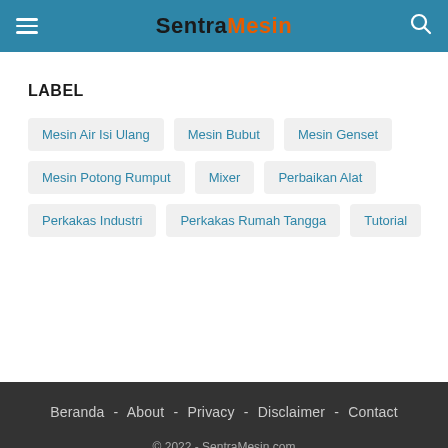SentraMesin
LABEL
Mesin Air Isi Ulang
Mesin Bubut
Mesin Genset
Mesin Potong Rumput
Mixer
Perbaikan Alat
Perkakas Industri
Perkakas Rumah Tangga
Tutorial
Beranda - About - Privacy - Disclaimer - Contact
© 2022 - SentraMesin.com